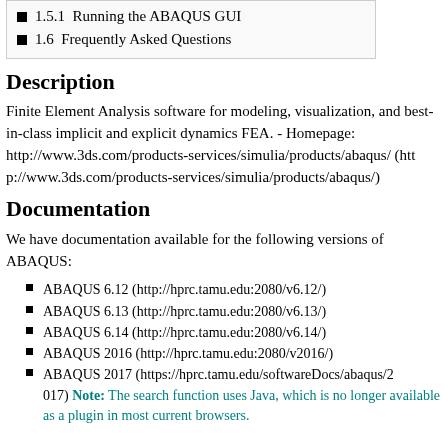1.5.1  Running the ABAQUS GUI
1.6  Frequently Asked Questions
Description
Finite Element Analysis software for modeling, visualization, and best-in-class implicit and explicit dynamics FEA. - Homepage: http://www.3ds.com/products-services/simulia/products/abaqus/ (http://www.3ds.com/products-services/simulia/products/abaqus/)
Documentation
We have documentation available for the following versions of ABAQUS:
ABAQUS 6.12 (http://hprc.tamu.edu:2080/v6.12/)
ABAQUS 6.13 (http://hprc.tamu.edu:2080/v6.13/)
ABAQUS 6.14 (http://hprc.tamu.edu:2080/v6.14/)
ABAQUS 2016 (http://hprc.tamu.edu:2080/v2016/)
ABAQUS 2017 (https://hprc.tamu.edu/softwareDocs/abaqus/2017) Note: The search function uses Java, which is no longer available as a plugin in most current browsers.